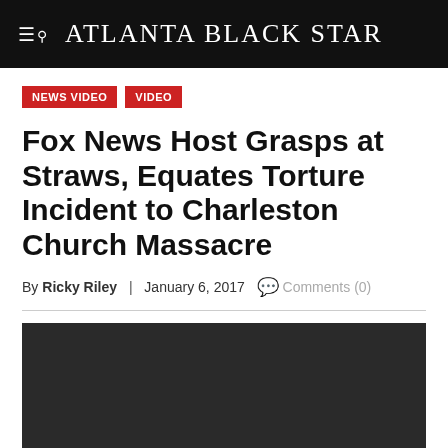Atlanta Black Star
NEWS VIDEO
VIDEO
Fox News Host Grasps at Straws, Equates Torture Incident to Charleston Church Massacre
By Ricky Riley | January 6, 2017  Comments (0)
[Figure (screenshot): Dark video thumbnail area]